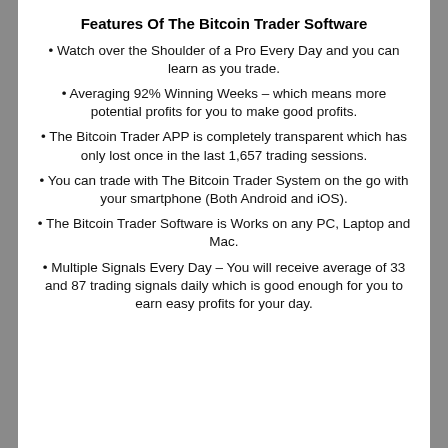Features Of The Bitcoin Trader Software
Watch over the Shoulder of a Pro Every Day and you can learn as you trade.
Averaging 92% Winning Weeks – which means more potential profits for you to make good profits.
The Bitcoin Trader APP is completely transparent which has only lost once in the last 1,657 trading sessions.
You can trade with The Bitcoin Trader System on the go with your smartphone (Both Android and iOS).
The Bitcoin Trader Software is Works on any PC, Laptop and Mac.
Multiple Signals Every Day – You will receive average of 33 and 87 trading signals daily which is good enough for you to earn easy profits for your day.